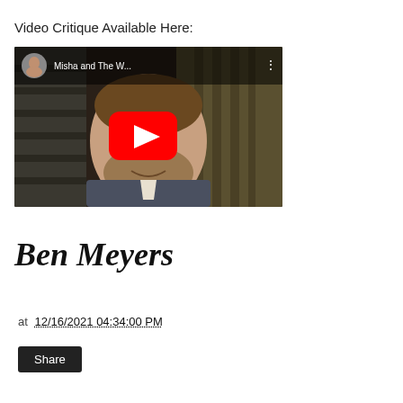Video Critique Available Here:
[Figure (screenshot): YouTube video thumbnail showing a man with beard smiling, with YouTube play button overlay, title 'Misha and The W...' visible in top bar]
Ben Meyers
at 12/16/2021 04:34:00 PM
Share